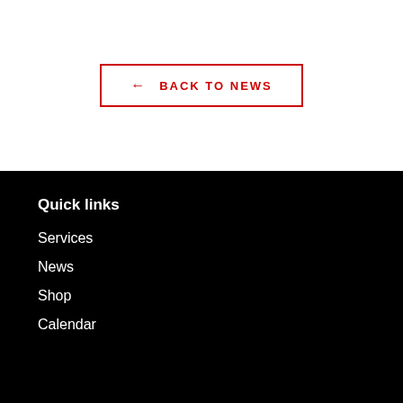← BACK TO NEWS
Quick links
Services
News
Shop
Calendar